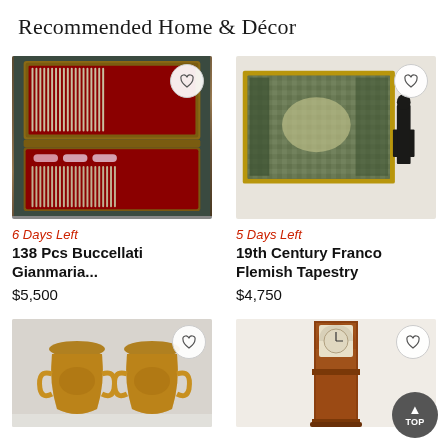Recommended Home & Décor
[Figure (photo): Open wooden cutlery box with 138 pieces of silverware arranged in red velvet lined drawers]
6 Days Left
138 Pcs Buccellati Gianmaria...
$5,500
[Figure (photo): Large 19th century Franco Flemish tapestry in ornate gold frame, with human silhouette for scale]
5 Days Left
19th Century Franco Flemish Tapestry
$4,750
[Figure (photo): Pair of ornate gilt bronze urn-shaped garden planters with decorative handles]
[Figure (photo): Tall antique grandfather clock with mahogany case]